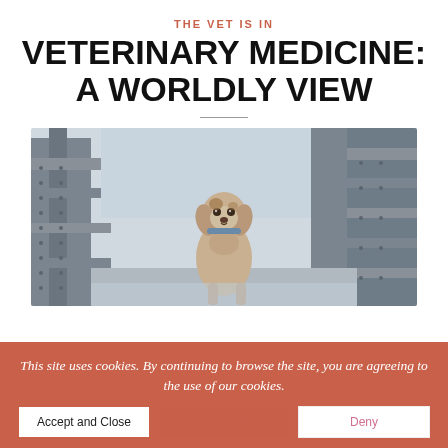THE VET IS IN
VETERINARY MEDICINE: A WORLDLY VIEW
[Figure (photo): A fluffy brown and white dog standing on a metal bridge structure, looking at the camera, with large steel girders visible in the background.]
This site uses cookies. By continuing to browse the site, you are agreeing to the use of our cookies.
Accept and Close | Privacy Policy | Deny